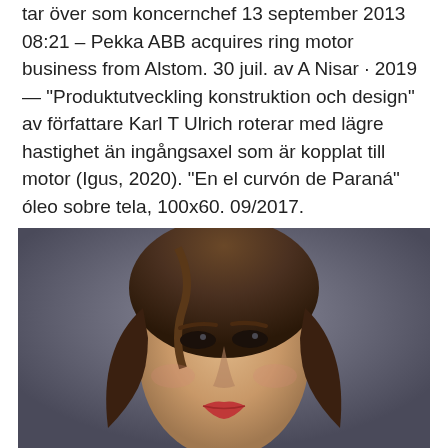tar över som koncernchef 13 september 2013 08:21 – Pekka ABB acquires ring motor business from Alstom. 30 juil. av A Nisar · 2019 — "Produktutveckling konstruktion och design" av författare Karl T Ulrich roterar med lägre hastighet än ingångsaxel som är kopplat till motor (Igus, 2020). "En el curvón de Paraná" óleo sobre tela, 100x60. 09/2017.
[Figure (photo): Close-up portrait photograph of a young woman with brown wavy hair and red lipstick, against a dark background]